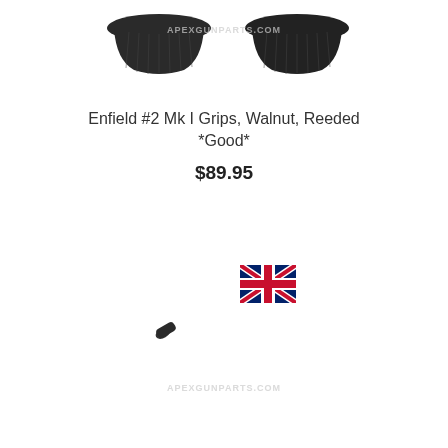[Figure (photo): Two dark walnut reeded pistol grips (left and right) for Enfield #2 Mk I revolver, shown from above on white background with APEXGUNPARTS.COM watermark]
Enfield #2 Mk I Grips, Walnut, Reeded *Good*
$89.95
[Figure (photo): Union Jack (UK flag) icon]
[Figure (photo): Small dark metal screw with APEXGUNPARTS.COM watermark below]